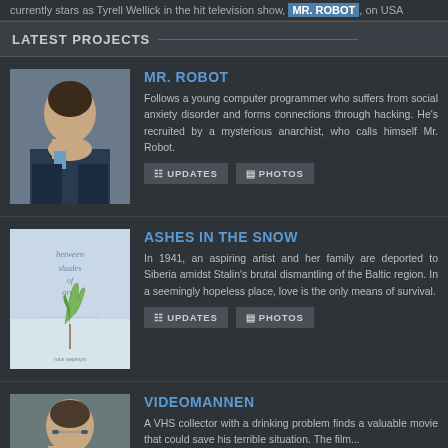currently stars as Tyrell Wellick in the hit television show, MR. ROBOT, on USA
LATEST PROJECTS
[Figure (photo): Photo of a man in a suit with a blue tie]
MR. ROBOT
Follows a young computer programmer who suffers from social anxiety disorder and forms connections through hacking. He's recruited by a mysterious anarchist, who calls himself Mr. Robot.
[Figure (photo): Book cover for 'Between Shades of Gray' by Ruta Sepetys showing a plant sprouting]
ASHES IN THE SNOW
In 1941, an aspiring artist and her family are deported to Siberia amidst Stalin's brutal dismantling of the Baltic region. In a seemingly hopeless place, love is the only means of survival.
[Figure (photo): Photo of a man with glasses]
VIDEOMANNEN
A VHS collector with a drinking problem finds a valuable movie that could save his terrible situation. The film...